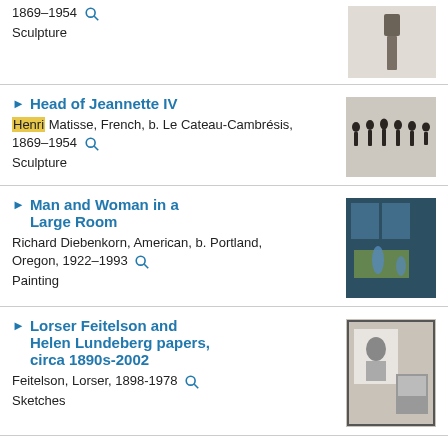1869–1954
Sculpture
Head of Jeannette IV
Henri Matisse, French, b. Le Cateau-Cambrésis, 1869–1954
Sculpture
Man and Woman in a Large Room
Richard Diebenkorn, American, b. Portland, Oregon, 1922–1993
Painting
Lorser Feitelson and Helen Lundeberg papers, circa 1890s-2002
Feitelson, Lorser, 1898-1978
Sketches
Lorser Feitelson and Helen Lundeberg papers
Feitelson, Lorser, 1898-1978